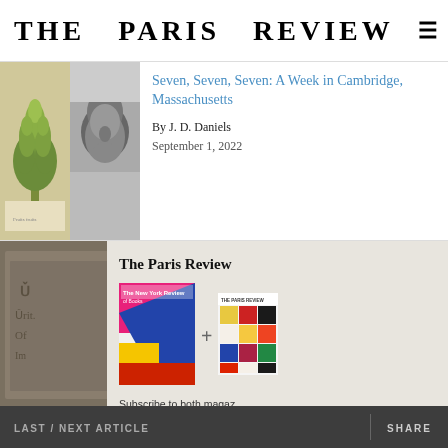THE PARIS REVIEW
Seven, Seven, Seven: A Week in Cambridge, Massachusetts
By J. D. Daniels
September 1, 2022
[Figure (photo): Two images side by side: botanical illustration of an artichoke (left) and a black-and-white portrait photo (right)]
[Figure (photo): Stone carving or plaque with partially visible text]
[Figure (photo): Dark image showing what appear to be white candles or similar objects]
The Paris Review
Subscribe to both magazines at one price and get a year of great criticism delivered to you.
Subscribe Now
By Rachel Heise Bolten
LAST / NEXT ARTICLE
SHARE